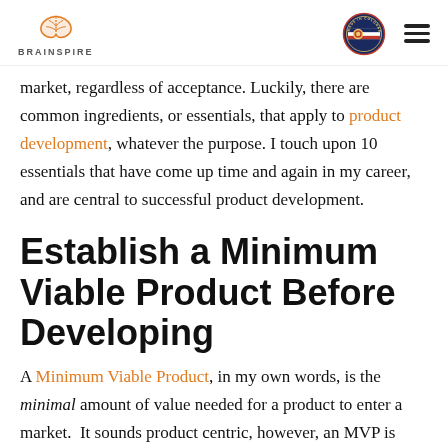BRAINSPIRE
market, regardless of acceptance. Luckily, there are common ingredients, or essentials, that apply to product development, whatever the purpose. I touch upon 10 essentials that have come up time and again in my career, and are central to successful product development.
Establish a Minimum Viable Product Before Developing
A Minimum Viable Product, in my own words, is the minimal amount of value needed for a product to enter a market. It sounds product centric, however, an MVP is actually risk centric with focuses on items such as initial